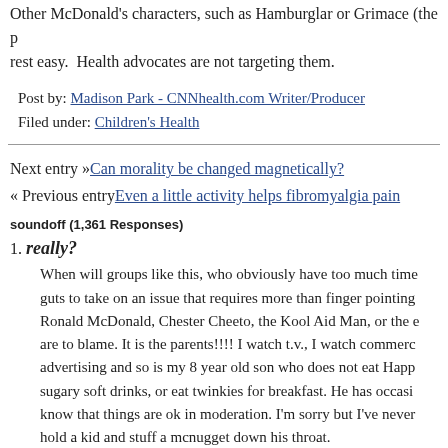Other McDonald's characters, such as Hamburglar or Grimace (the p rest easy. Health advocates are not targeting them.
Post by: Madison Park - CNNhealth.com Writer/Producer
Filed under: Children's Health
Next entry »Can morality be changed magnetically?
« Previous entryEven a little activity helps fibromyalgia pain
soundoff (1,361 Responses)
1. really?
When will groups like this, who obviously have too much time guts to take on an issue that requires more than finger pointing Ronald McDonald, Chester Cheeto, the Kool Aid Man, or the e are to blame. It is the parents!!!! I watch t.v., I watch commerc advertising and so is my 8 year old son who does not eat Happ sugary soft drinks, or eat twinkies for breakfast. He has occasi know that things are ok in moderation. I'm sorry but I've never hold a kid and stuff a mcnugget down his throat.
March 31, 2010 at 11:30 | Report abuse | Reply
2. Christina